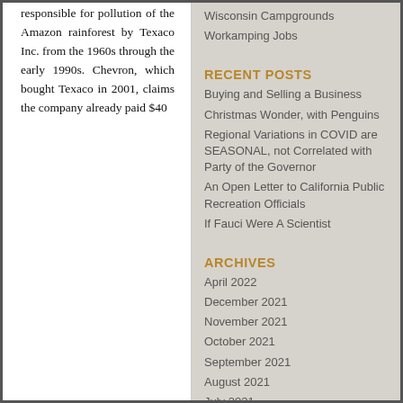responsible for pollution of the Amazon rainforest by Texaco Inc. from the 1960s through the early 1990s. Chevron, which bought Texaco in 2001, claims the company already paid $40
Wisconsin Campgrounds
Workamping Jobs
RECENT POSTS
Buying and Selling a Business
Christmas Wonder, with Penguins
Regional Variations in COVID are SEASONAL, not Correlated with Party of the Governor
An Open Letter to California Public Recreation Officials
If Fauci Were A Scientist
ARCHIVES
April 2022
December 2021
November 2021
October 2021
September 2021
August 2021
July 2021